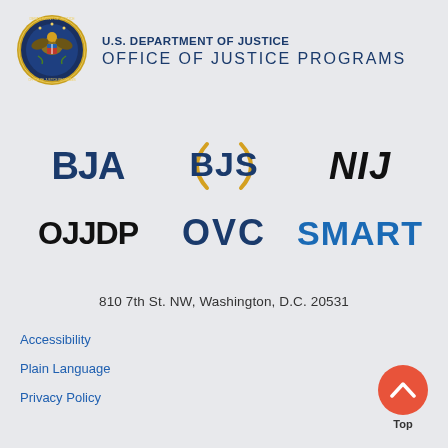[Figure (logo): U.S. Department of Justice seal — gold eagle on blue circular badge with text around border]
U.S. DEPARTMENT OF JUSTICE
OFFICE OF JUSTICE PROGRAMS
[Figure (logo): BJA logo — bold dark blue sans-serif text]
[Figure (logo): BJS logo — bold blue text inside golden arc/parenthesis circle]
[Figure (logo): NIJ logo — bold italic black text]
[Figure (logo): OJJDP logo — bold black text]
[Figure (logo): OVC logo — bold dark blue text]
[Figure (logo): SMART logo — bold blue text]
810 7th St. NW, Washington, D.C. 20531
Accessibility
Plain Language
Privacy Policy